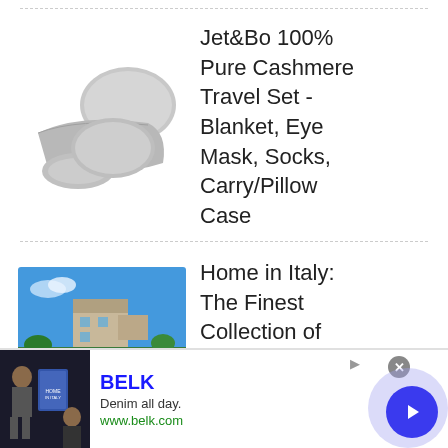[Figure (photo): Gray cashmere travel set including folded blanket, eye mask, socks, and pillow/carry case]
Jet&Bo 100% Pure Cashmere Travel Set - Blanket, Eye Mask, Socks, Carry/Pillow Case
[Figure (photo): Luxury Italian villa with pool overlooking countryside under blue sky]
Home in Italy: The Finest Collection of Luxury Villas Since 1994
[Figure (screenshot): BELK advertisement banner - Denim all day. www.belk.com]